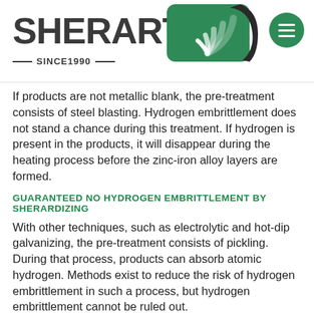SHERART SINCE 1990
If products are not metallic blank, the pre-treatment consists of steel blasting. Hydrogen embrittlement does not stand a chance during this treatment. If hydrogen is present in the products, it will disappear during the heating process before the zinc-iron alloy layers are formed.
GUARANTEED NO HYDROGEN EMBRITTLEMENT BY SHERARDIZING
With other techniques, such as electrolytic and hot-dip galvanizing, the pre-treatment consists of pickling. During that process, products can absorb atomic hydrogen. Methods exist to reduce the risk of hydrogen embrittlement in such a process, but hydrogen embrittlement cannot be ruled out.
Sherardizing excludes hydrogen embrittlement in process engineering.